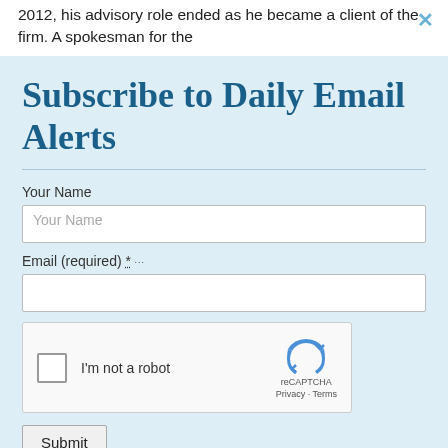2012, his advisory role ended as he became a client of the firm. A spokesman for the
Subscribe to Daily Email Alerts
Your Name
Email (required) *
[Figure (other): reCAPTCHA widget with checkbox labeled I'm not a robot, reCAPTCHA logo, Privacy and Terms links]
Submit
By submitting this form, you are consenting to receive marketing emails from: News With Views, P.O. Box 990, Spring Branch, TX, 78070-9998,